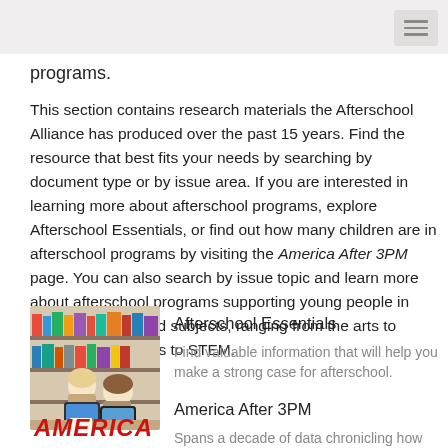programs.
This section contains research materials the Afterschool Alliance has produced over the past 15 years. Find the resource that best fits your needs by searching by document type or by issue area. If you are interested in learning more about afterschool programs, explore Afterschool Essentials, or find out how many children are in afterschool programs by visiting the America After 3PM page. You can also search by issue topic and learn more about afterschool programs supporting young people in variety of areas and subjects, ranging from the arts to health and wellness to STEM.
[Figure (photo): Children using tablets in a library/classroom setting with bookshelves in the background]
Afterschool Essentials
Find valuable information that will help you make a strong case for afterschool.
[Figure (logo): America After 3PM logo in red italic text]
America After 3PM
Spans a decade of data chronicling how